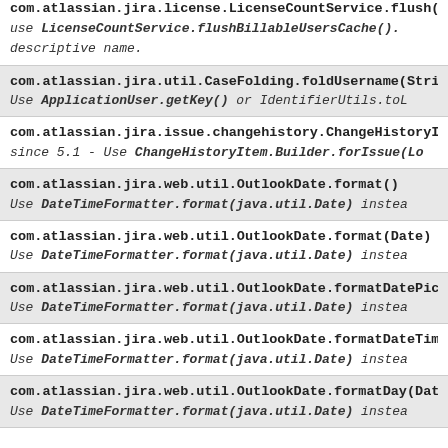com.atlassian.jira.license.LicenseCountService.flush()
use LicenseCountService.flushBillableUsersCache().
descriptive name.
com.atlassian.jira.util.CaseFolding.foldUsername(String)
Use ApplicationUser.getKey() or IdentifierUtils.toL
com.atlassian.jira.issue.changehistory.ChangeHistoryIte
since 5.1 - Use ChangeHistoryItem.Builder.forIssue(Lo
com.atlassian.jira.web.util.OutlookDate.format()
Use DateTimeFormatter.format(java.util.Date) instea
com.atlassian.jira.web.util.OutlookDate.format(Date)
Use DateTimeFormatter.format(java.util.Date) instea
com.atlassian.jira.web.util.OutlookDate.formatDatePicke
Use DateTimeFormatter.format(java.util.Date) instea
com.atlassian.jira.web.util.OutlookDate.formatDateTime
Use DateTimeFormatter.format(java.util.Date) instea
com.atlassian.jira.web.util.OutlookDate.formatDay(Date)
Use DateTimeFormatter.format(java.util.Date) instea